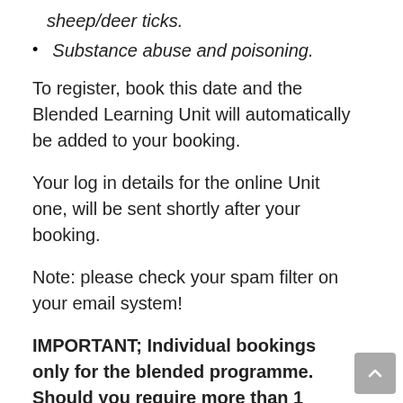sheep/deer ticks.
Substance abuse and poisoning.
To register, book this date and the Blended Learning Unit will automatically be added to your booking.
Your log in details for the online Unit one, will be sent shortly after your booking.
Note: please check your spam filter on your email system!
IMPORTANT; Individual bookings only for the blended programme. Should you require more than 1 attendee, please make the